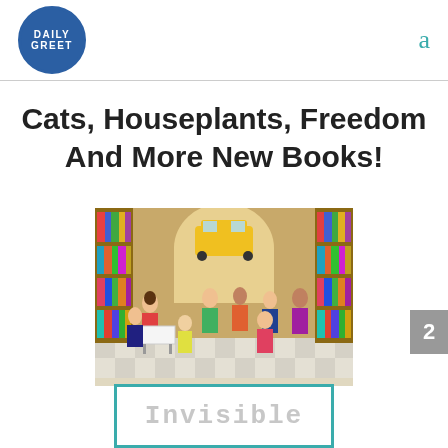Daily Greet logo | a
Cats, Houseplants, Freedom And More New Books!
[Figure (illustration): Colorful illustration of a busy bookstore filled with many people browsing books on tall shelves, with a yellow taxi visible in the background through the doorway.]
[Figure (illustration): Book cover or card with teal border showing the text 'Invisible' in outlined letters on a white background.]